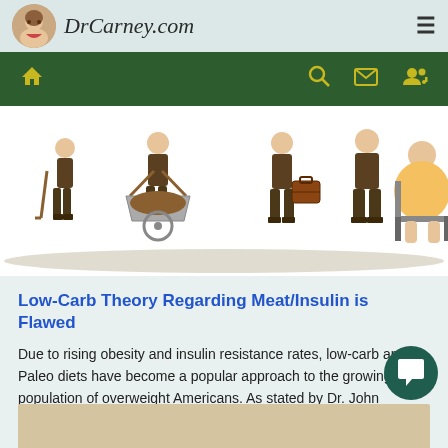DrCarney.com
[Figure (illustration): Illustration showing multiple people in various stages/sizes, some with walking aids, one sitting in a chair, representing obesity or health progression]
Low-Carb Theory Regarding Meat/Insulin is Flawed
Due to rising obesity and insulin resistance rates, low-carb and Paleo diets have become a popular approach to the growing population of overweight Americans. As stated by Dr. John McDougall, "Advocat...
Read More